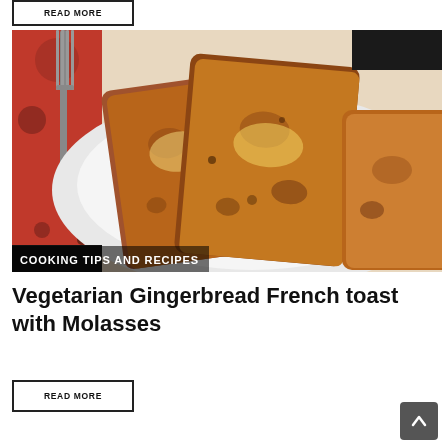READ MORE
[Figure (photo): Photo of gingerbread French toast slices on a white plate with a fork visible, topped with syrup, with a caption overlay reading COOKING TIPS AND RECIPES]
Vegetarian Gingerbread French toast with Molasses
READ MORE